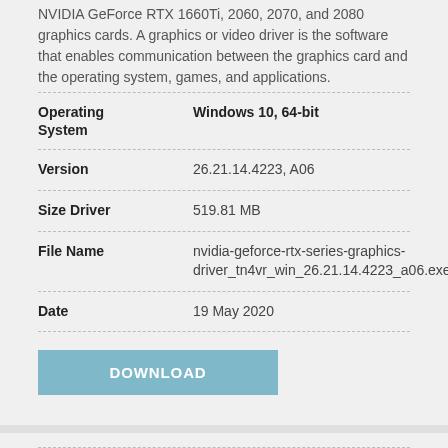NVIDIA GeForce RTX 1660Ti, 2060, 2070, and 2080 graphics cards. A graphics or video driver is the software that enables communication between the graphics card and the operating system, games, and applications.
| Field | Value |
| --- | --- |
| Operating System | Windows 10, 64-bit |
| Version | 26.21.14.4223, A06 |
| Size Driver | 519.81 MB |
| File Name | nvidia-geforce-rtx-series-graphics-driver_tn4vr_win_26.21.14.4223_a06.exe |
| Date | 19 May 2020 |
DOWNLOAD
| Field | Value |
| --- | --- |
| Description | Realtek High Definition Audio Driver |
| Information | This package contains the driver for the Realtek ALC3080 audio. Audio |